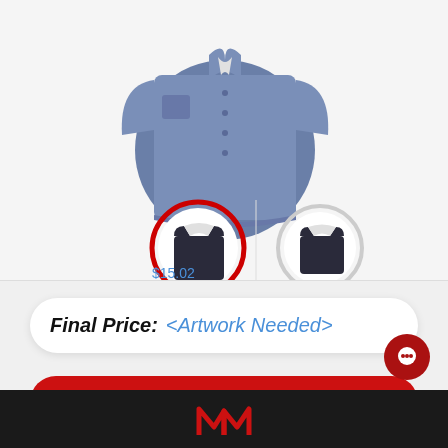[Figure (photo): Product page screenshot showing a slate blue short-sleeve button-up shirt, with two thumbnail options of a dark tank top below it. The left thumbnail is circled in red (selected), the right in gray (unselected). Price shown as $15.02.]
$15.02
Final Price: <Artwork Needed>
ADD TO CART